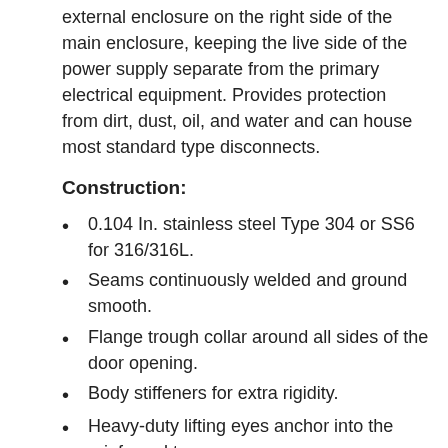external enclosure on the right side of the main enclosure, keeping the live side of the power supply separate from the primary electrical equipment. Provides protection from dirt, dust, oil, and water and can house most standard type disconnects.
Construction:
0.104 In. stainless steel Type 304 or SS6 for 316/316L.
Seams continuously welded and ground smooth.
Flange trough collar around all sides of the door opening.
Body stiffeners for extra rigidity.
Heavy-duty lifting eyes anchor into the reinforced top.
Removable center post to permit easy sub-panel installation.
Concealed hinges.
Black zinc die cast padlocking handles.